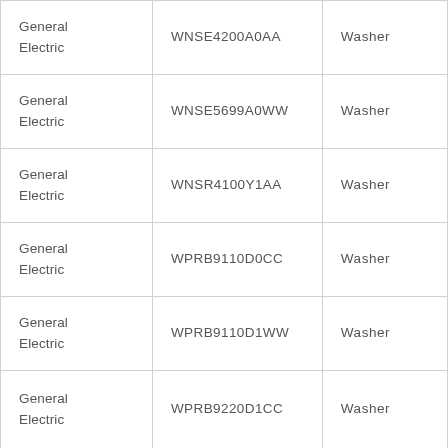| General Electric | WNSE4200A0AA | Washer |
| General Electric | WNSE5699A0WW | Washer |
| General Electric | WNSR4100Y1AA | Washer |
| General Electric | WPRB9110D0CC | Washer |
| General Electric | WPRB9110D1WW | Washer |
| General Electric | WPRB9220D1CC | Washer |